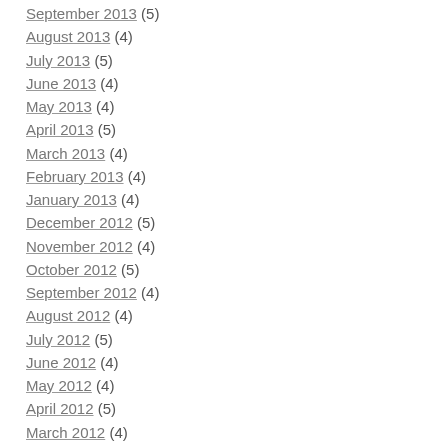September 2013 (5)
August 2013 (4)
July 2013 (5)
June 2013 (4)
May 2013 (4)
April 2013 (5)
March 2013 (4)
February 2013 (4)
January 2013 (4)
December 2012 (5)
November 2012 (4)
October 2012 (5)
September 2012 (4)
August 2012 (4)
July 2012 (5)
June 2012 (4)
May 2012 (4)
April 2012 (5)
March 2012 (4)